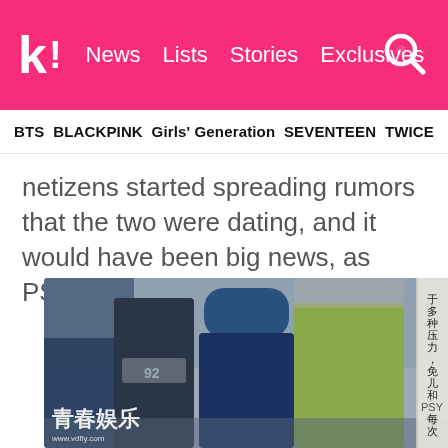K! News Lists Stories Exclusives
BTS BLACKPINK Girls' Generation SEVENTEEN TWICE
netizens started spreading rumors that the two were dating, and it would have been big news, as PSY was already married.
[Figure (photo): Photo of people in a market/outdoor setting. A woman in a dark hoodie with '92' printed on it stands next to a man in a blue cap and jacket. Another man in a yellow-green jacket faces away. Chinese text on the right side reads vertical characters. Watermark text reads '青春娱乐' and 'www.vdfly.com']